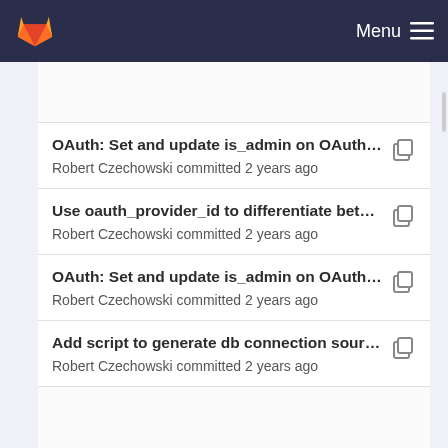GitLab — Menu
OAuth: Set and update is_admin on OAuth login. ...
Robert Czechowski committed 2 years ago
Use oauth_provider_id to differentiate between dif...
Robert Czechowski committed 2 years ago
OAuth: Set and update is_admin on OAuth login. ...
Robert Czechowski committed 2 years ago
Add script to generate db connection sources fro...
Robert Czechowski committed 2 years ago
Restyle database status page
Robert Czechowski committed 2 years ago